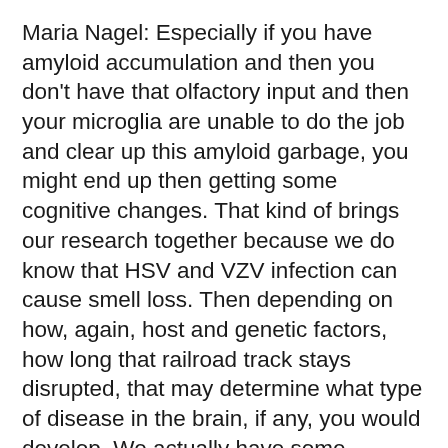Maria Nagel: Especially if you have amyloid accumulation and then you don't have that olfactory input and then your microglia are unable to do the job and clear up this amyloid garbage, you might end up then getting some cognitive changes. That kind of brings our research together because we do know that HSV and VZV infection can cause smell loss. Then depending on how, again, host and genetic factors, how long that railroad track stays disrupted, that may determine what type of disease in the brain, if any, you would develop. We actually have some amazing prelim data, right?
Diego Restrepo: Also in the human study with the proteomics with Nanostream, we find that in the …